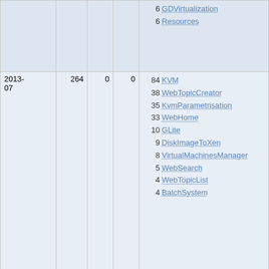| Date | Count | Col3 | Col4 | Pages |
| --- | --- | --- | --- | --- |
|  |  |  |  | 6 GDVirtualization
6 Resources |
| 2013-07 | 264 | 0 | 0 | 84 KVM
38 WebTopicCreator
35 KvmParametrisation
33 WebHome
10 GLite
9 DiskImageToXen
8 VirtualMachinesManager
5 WebSearch
4 WebTopicList
4 BatchSystem |
| 2013-06 | 214 | 0 | 0 | 63 KVM
25 WebTopicCreator
24 KvmParametrisation
22 WebHome
11 DiskImageToXen
9 VirtualMachinesManager
5 GDVirtualization
4 WebSearchAdvanced
4 Benchmarks |